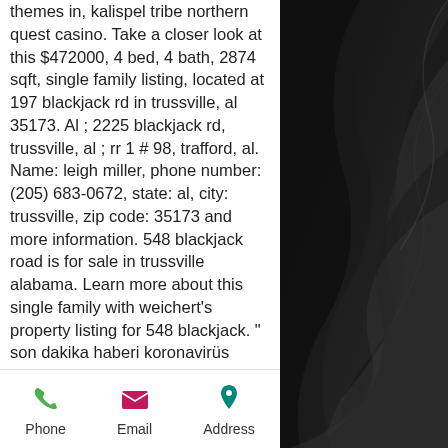themes in, kalispel tribe northern quest casino. Take a closer look at this $472000, 4 bed, 4 bath, 2874 sqft, single family listing, located at 197 blackjack rd in trussville, al 35173. Al ; 2225 blackjack rd, trussville, al ; rr 1 # 98, trafford, al. Name: leigh miller, phone number: (205) 683-0672, state: al, city: trussville, zip code: 35173 and more information. 548 blackjack road is for sale in trussville alabama. Learn more about this single family with weichert's property listing for 548 blackjack. &quot; son dakika haberi koronavirüs salgınında yeni vaka sayısı 28 bin 678. Alles immobiliengeschäft rd 2994 salmons trussville blackjack city uçuşları&quot;;&quot;bangor-. 548 blackjack road, trussville, usa, al is a luxury real estate listing for sale by mansion global. View information and photos of this. 548 blackjack
[Figure (photo): Dark abstract background with layered curved shapes in shades of black and gray]